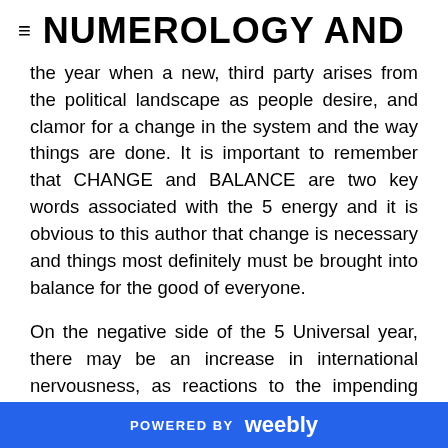≡ NUMEROLOGY AND
the year when a new, third party arises from the political landscape as people desire, and clamor for a change in the system and the way things are done. It is important to remember that CHANGE and BALANCE are two key words associated with the 5 energy and it is obvious to this author that change is necessary and things most definitely must be brought into balance for the good of everyone.
On the negative side of the 5 Universal year, there may be an increase in international nervousness, as reactions to the impending changes are met with fear and a show of force. One of the other conditions the 5
POWERED BY weebly